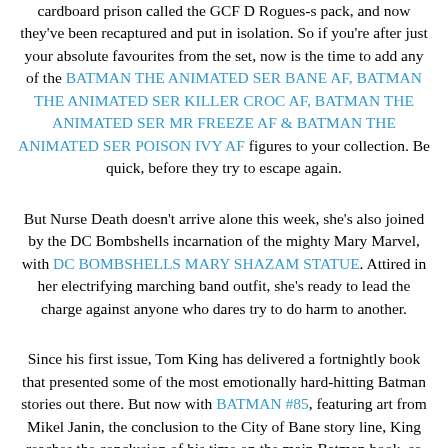cardboard prison called the GCF D Rogues-s pack, and now they've been recaptured and put in isolation. So if you're after just your absolute favourites from the set, now is the time to add any of the BATMAN THE ANIMATED SER BANE AF, BATMAN THE ANIMATED SER KILLER CROC AF, BATMAN THE ANIMATED SER MR FREEZE AF & BATMAN THE ANIMATED SER POISON IVY AF figures to your collection. Be quick, before they try to escape again.
But Nurse Death doesn't arrive alone this week, she's also joined by the DC Bombshells incarnation of the mighty Mary Marvel, with DC BOMBSHELLS MARY SHAZAM STATUE. Attired in her electrifying marching band outfit, she's ready to lead the charge against anyone who dares try to do harm to another.
Since his first issue, Tom King has delivered a fortnightly book that presented some of the most emotionally hard-hitting Batman stories out there. But now with BATMAN #85, featuring art from Mikel Janin, the conclusion to the City of Bane story line, King reaches the conclusion of his time on the main Batman book, so the fight for Gotham City reaches